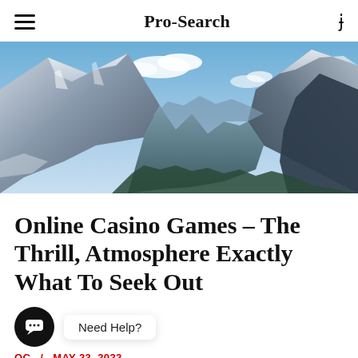Pro-Search
[Figure (photo): Panoramic mountain landscape with snow-capped peaks, blue sky with clouds, and forested valley below]
Online Casino Games – The Thrill, Atmosphere Exactly What To Seek Out
Need Help?
OCTOBER / MAY 23, 2022